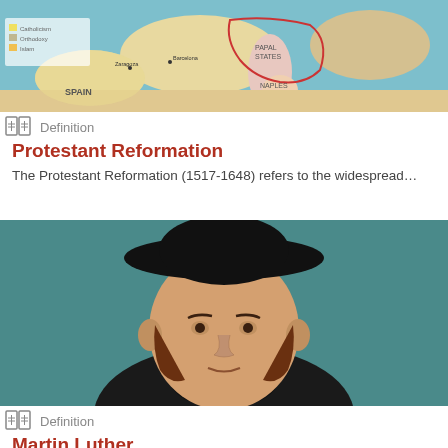[Figure (map): Historical map of Europe showing religious divisions including Catholicism, Orthodoxy, and Islam, with regions labeled Spain, Papal States, Naples, and other territories]
Definition
Protestant Reformation
The Protestant Reformation (1517-1648) refers to the widespread…
[Figure (photo): Portrait painting of Martin Luther, a German priest and monk, wearing a black hat and robe, painted against a teal-green background]
Definition
Martin Luther
Martin Luther (l.1483-1546) was a German priest, monk, and